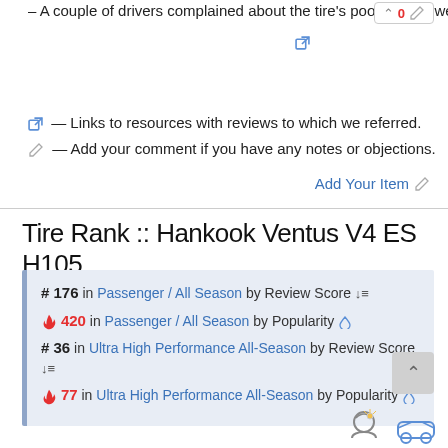– A couple of drivers complained about the tire's poor grip on wet surfaces.
— Links to resources with reviews to which we referred.
— Add your comment if you have any notes or objections.
Add Your Item
Tire Rank :: Hankook Ventus V4 ES H105
#176 in Passenger / All Season by Review Score
420 in Passenger / All Season by Popularity
#36 in Ultra High Performance All-Season by Review Score
77 in Ultra High Performance All-Season by Popularity